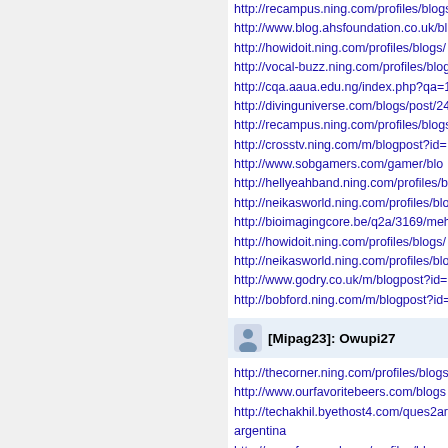http://recampus.ning.com/profiles/blogs/
http://www.blog.ahsfoundation.co.uk/bl
http://howidoit.ning.com/profiles/blogs/
http://vocal-buzz.ning.com/profiles/blog
http://cqa.aaua.edu.ng/index.php?qa=1
http://divinguniverse.com/blogs/post/24
http://recampus.ning.com/profiles/blogs
http://crosstv.ning.com/m/blogpost?id=
http://www.sobgamers.com/gamer/blo
http://hellyeahband.ning.com/profiles/bl
http://neikasworld.ning.com/profiles/blo
http://bioimagingcore.be/q2a/3169/meh
http://howidoit.ning.com/profiles/blogs/
http://neikasworld.ning.com/profiles/blo
http://www.godry.co.uk/m/blogpost?id=
http://bobford.ning.com/m/blogpost?id=
[Mipag23]: Owupi27
http://thecorner.ning.com/profiles/blogs/
http://www.ourfavoritebeers.com/blogs
http://techakhil.byethost4.com/ques2an argentina
http://www.facecool.com/profiles/blogs
http://ssbsavannah.ning.com/profiles/bl
http://adrenalineprovingrounds.ning.c